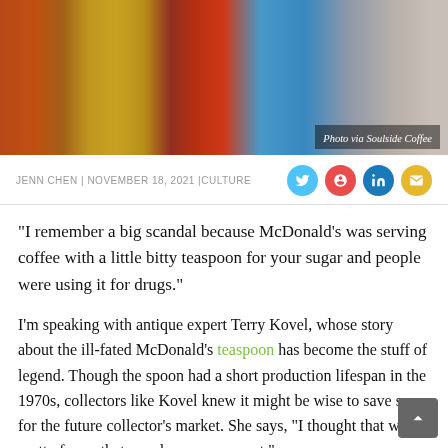[Figure (photo): A row of colorful espresso machines and coffee grinders in orange, yellow, red, and blue, lined up on a counter. Photo credit watermark reads 'Photo via Soulside Coffee'.]
JENN CHEN | NOVEMBER 18, 2021 |CULTURE
“I remember a big scandal because McDonald’s was serving coffee with a little bitty teaspoon for your sugar and people were using it for drugs.”
I’m speaking with antique expert Terry Kovel, whose story about the ill-fated McDonald’s teaspoon has become the stuff of legend. Though the spoon had a short production lifespan in the 1970s, collectors like Kovel knew it might be wise to save some for the future collector’s market. She says, “I thought that was pretty funny that people were so smart.”